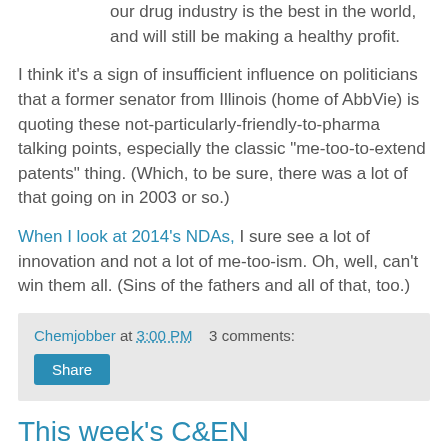our drug industry is the best in the world, and will still be making a healthy profit.
I think it's a sign of insufficient influence on politicians that a former senator from Illinois (home of AbbVie) is quoting these not-particularly-friendly-to-pharma talking points, especially the classic "me-too-to-extend patents" thing. (Which, to be sure, there was a lot of that going on in 2003 or so.)
When I look at 2014's NDAs, I sure see a lot of innovation and not a lot of me-too-ism. Oh, well, can't win them all. (Sins of the fathers and all of that, too.)
Chemjobber at 3:00 PM   3 comments:
Share
This week's C&EN
I also found interesting this piece in this week's C&EN...